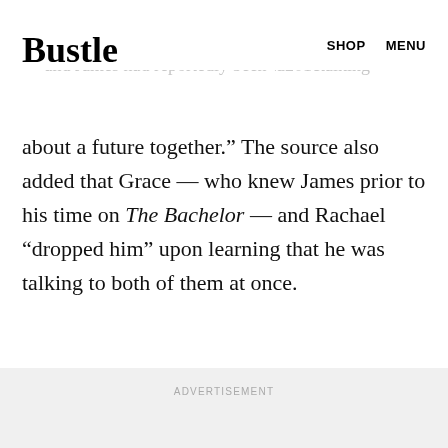Bustle   SHOP   MENU
“manipulated” when she found out about Grace — and James had reportedly been “talking about a future together.” The source also added that Grace — who knew James prior to his time on The Bachelor — and Rachael “dropped him” upon learning that he was talking to both of them at once.
ADVERTISEMENT